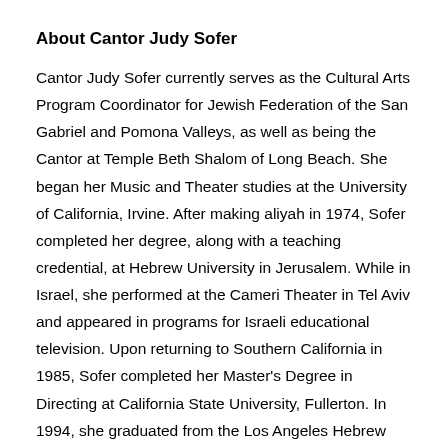About Cantor Judy Sofer
Cantor Judy Sofer currently serves as the Cultural Arts Program Coordinator for Jewish Federation of the San Gabriel and Pomona Valleys, as well as being the Cantor at Temple Beth Shalom of Long Beach. She began her Music and Theater studies at the University of California, Irvine. After making aliyah in 1974, Sofer completed her degree, along with a teaching credential, at Hebrew University in Jerusalem. While in Israel, she performed at the Cameri Theater in Tel Aviv and appeared in programs for Israeli educational television. Upon returning to Southern California in 1985, Sofer completed her Master's Degree in Directing at California State University, Fullerton. In 1994, she graduated from the Los Angeles Hebrew Union College Cantorial Program receiving her Cantorial Commission in 1999. She has also performed in many locations around Southern California